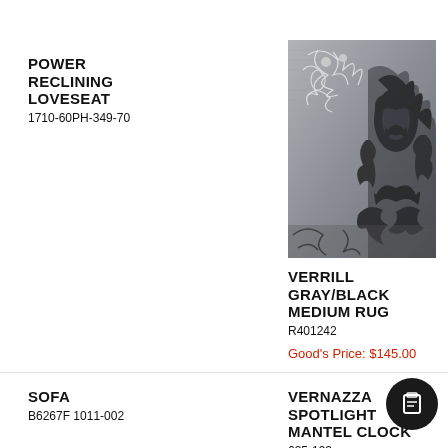POWER RECLINING LOVESEAT
1710-60PH-349-70
[Figure (photo): Gray/black decorative medium rug with ornate floral and damask pattern]
VERRILL GRAY/BLACK MEDIUM RUG
R401242
Good's Price: $145.00
SOFA
B6267F 1011-002
VERNAZZA SPOTLIGHT MANTEL CLOCK
635-193